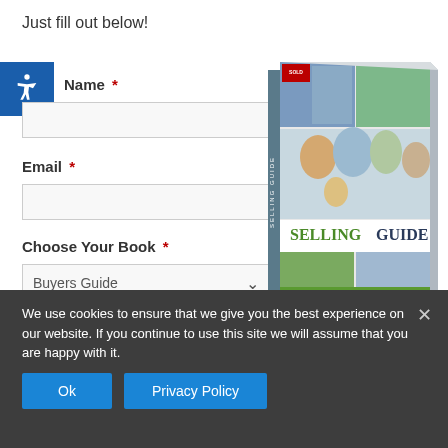Just fill out below!
Name *
Email *
Choose Your Book *
Buyers Guide
[Figure (illustration): Book cover for Selling Guide - Things to Consider When Selling Your House, showing families and houses]
We use cookies to ensure that we give you the best experience on our website. If you continue to use this site we will assume that you are happy with it.
Ok
Privacy Policy